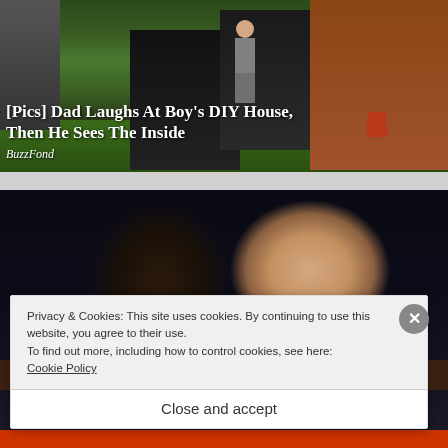[Figure (photo): Outdoor backyard scene with a boy standing in a doorway of a makeshift DIY shed/fort made of dark material, with a wooden fence and greenery in background]
[Pics] Dad Laughs At Boy's DIY House, Then He Sees The Inside
BuzzFond
[Figure (photo): Two men appearing to kiss or embrace closely, photographed indoors in a dark setting]
Privacy & Cookies: This site uses cookies. By continuing to use this website, you agree to their use.
To find out more, including how to control cookies, see here: Cookie Policy
Close and accept